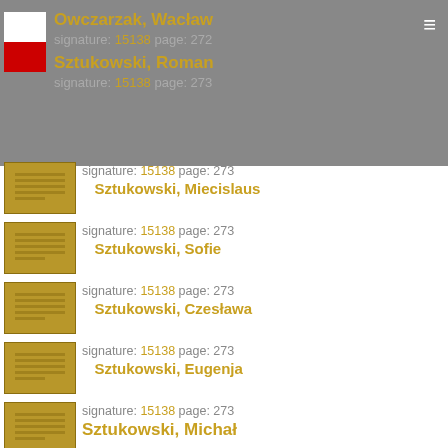Owczarzak, Wacław
signature: 15138 page: 272
Sztukowski, Roman
signature: 15138 page: 273
Sztukowski, Miecislaus
signature: 15138 page: 273
Sztukowski, Sofie
signature: 15138 page: 273
Sztukowski, Czesława
signature: 15138 page: 273
Sztukowski, Eugenja
signature: 15138 page: 273
Sztukowski, Michał
signature: 15138 page: 274
Sztukowski z d. Jędrzejczak, Rozalja
signature: 15138 page: 274
Sztukowski, Stanisław
signature: 15138 page: 274
Sztukowski, Marjanna
signature: 15138 page: 274
Schneider, Jan
signature: 15138 page: 274